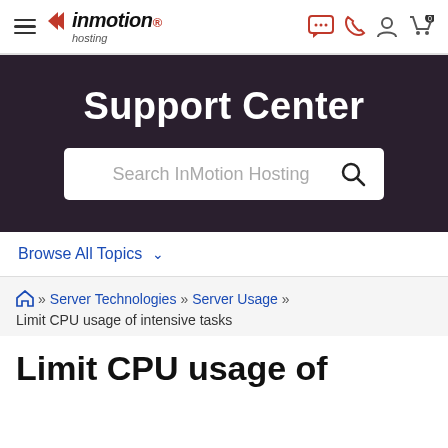[Figure (logo): InMotion Hosting logo with hamburger menu and navigation icons]
Support Center
Search InMotion Hosting
Browse All Topics
Home » Server Technologies » Server Usage » Limit CPU usage of intensive tasks
Limit CPU usage of